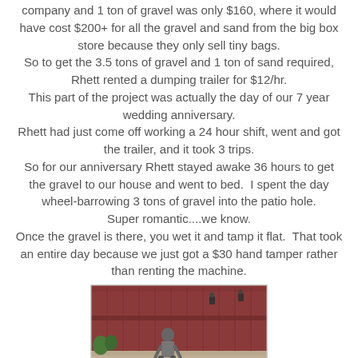company and 1 ton of gravel was only $160, where it would have cost $200+ for all the gravel and sand from the big box store because they only sell tiny bags.
So to get the 3.5 tons of gravel and 1 ton of sand required, Rhett rented a dumping trailer for $12/hr.
This part of the project was actually the day of our 7 year wedding anniversary.
Rhett had just come off working a 24 hour shift, went and got the trailer, and it took 3 trips.
So for our anniversary Rhett stayed awake 36 hours to get the gravel to our house and went to bed.  I spent the day wheel-barrowing 3 tons of gravel into the patio hole.
Super romantic....we know.
Once the gravel is there, you wet it and tamp it flat.  That took an entire day because we just got a $30 hand tamper rather than renting the machine.
[Figure (photo): Person working in a backyard patio area with a red wooden fence in the background, gravel/dirt ground visible, tools and buckets present.]